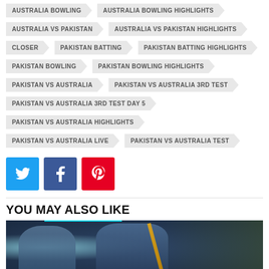AUSTRALIA BOWLING
AUSTRALIA BOWLING HIGHLIGHTS
AUSTRALIA VS PAKISTAN
AUSTRALIA VS PAKISTAN HIGHLIGHTS
CLOSER
PAKISTAN BATTING
PAKISTAN BATTING HIGHLIGHTS
PAKISTAN BOWLING
PAKISTAN BOWLING HIGHLIGHTS
PAKISTAN VS AUSTRALIA
PAKISTAN VS AUSTRALIA 3RD TEST
PAKISTAN VS AUSTRALIA 3RD TEST DAY 5
PAKISTAN VS AUSTRALIA HIGHLIGHTS
PAKISTAN VS AUSTRALIA LIVE
PAKISTAN VS AUSTRALIA TEST
[Figure (infographic): Social sharing buttons: Twitter (blue), Facebook (dark blue), Pinterest (red)]
YOU MAY ALSO LIKE
[Figure (photo): Cricket match promotional image with players in blue/dark background]